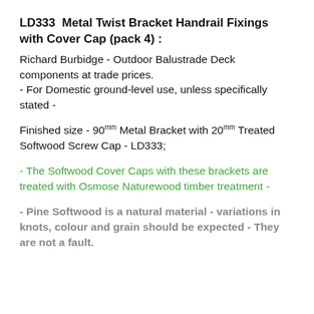LD333  Metal Twist Bracket Handrail Fixings with Cover Cap (pack 4) :
Richard Burbidge - Outdoor Balustrade Deck components at trade prices.
- For Domestic ground-level use, unless specifically stated -
Finished size - 90mm Metal Bracket with 20mm Treated Softwood Screw Cap - LD333;
- The Softwood Cover Caps with these brackets are treated with Osmose Naturewood timber treatment -
- Pine Softwood is a natural material - variations in knots, colour and grain should be expected - They are not a fault.